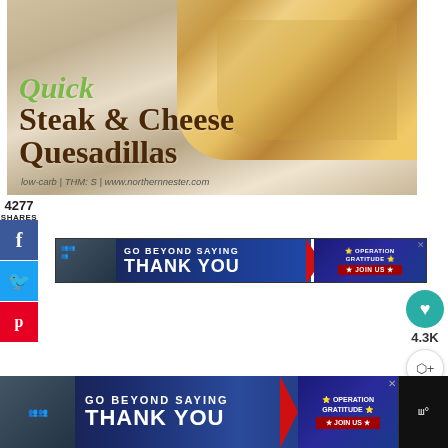[Figure (photo): Hero image of Quick Steak & Cheese Quesadillas with text overlay on food photo showing quesadilla slices on parchment paper]
Quick
Steak & Cheese
Quesadillas
low-carb | THM: S | www.northernnester.com
4277
SHARES
[Figure (infographic): Social media share buttons: Facebook (f), Twitter (bird), Pinterest (p)]
[Figure (other): Operation Gratitude advertisement banner: GO BEYOND SAYING THANK YOU with JOIN US button]
[Figure (other): Floating heart button with 4.3K count and share button]
[Figure (other): Bottom advertisement bar: Operation Gratitude GO BEYOND SAYING THANK YOU with JOIN US]